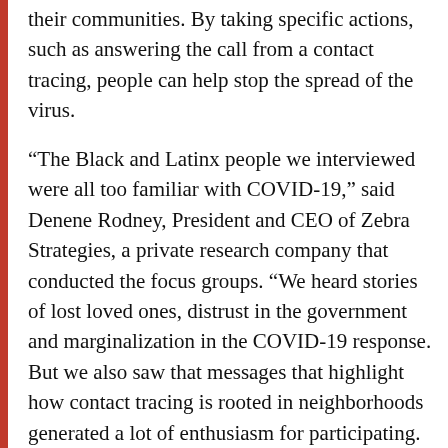their communities. By taking specific actions, such as answering the call from a contact tracing, people can help stop the spread of the virus.
“The Black and Latinx people we interviewed were all too familiar with COVID-19,” said Denene Rodney, President and CEO of Zebra Strategies, a private research company that conducted the focus groups. “We heard stories of lost loved ones, distrust in the government and marginalization in the COVID-19 response. But we also saw that messages that highlight how contact tracing is rooted in neighborhoods generated a lot of enthusiasm for participating. We hope this data encourages governments to mount community engagement efforts grounded in these messages.”
Twelve focus groups with a total of 88 people participated.  The groups consisted of African